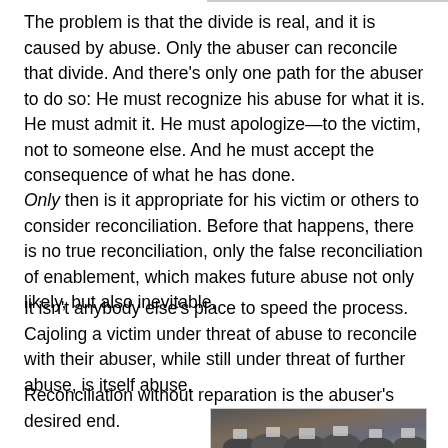The problem is that the divide is real, and it is caused by abuse. Only the abuser can reconcile that divide. And there's only one path for the abuser to do so: He must recognize his abuse for what it is. He must admit it. He must apologize—to the victim, not to someone else. And he must accept the consequence of what he has done.
Only then is it appropriate for his victim or others to consider reconciliation. Before that happens, there is no true reconciliation, only the false reconciliation of enablement, which makes future abuse not only likely, but also inevitable.
It isn't anybody else's place to speed the process. Cajoling a victim under threat of abuse to reconcile with their abuser, while still under threat of further abuse, is itself abuse.
Reconciliation without reparation is the abuser's desired end.
[Figure (photo): Crowd of protesters holding signs at what appears to be a protest or demonstration]